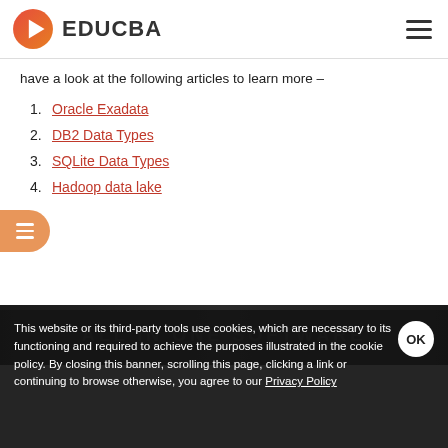EDUCBA
have a look at the following articles to learn more –
1. Oracle Exadata
2. DB2 Data Types
3. SQLite Data Types
4. Hadoop data lake
[Figure (screenshot): ALL IN ONE SOFTWARE banner image with dark background]
This website or its third-party tools use cookies, which are necessary to its functioning and required to achieve the purposes illustrated in the cookie policy. By closing this banner, scrolling this page, clicking a link or continuing to browse otherwise, you agree to our Privacy Policy